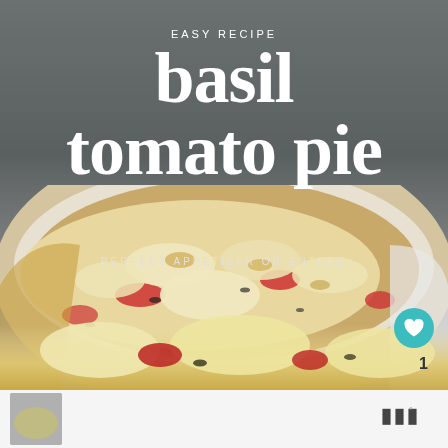[Figure (photo): Close-up photo of a basil tomato pie in a white ceramic pie dish, showing melted cheese, tomatoes and basil on top of a golden brown crust, set against a dark grey blurred background]
EASY RECIPE
basil
tomato pie
PERFECT APPETIZER OR ENTREE
[Figure (logo): Wholesome Yum logo: three black dots with a degree symbol, representing the Wholesome Yum brand watermark]